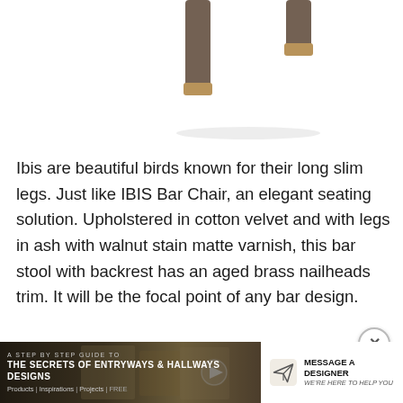[Figure (photo): Partial view of an IBIS Bar Chair showing wooden legs with walnut stain matte varnish finish against a white background]
Ibis are beautiful birds known for their long slim legs. Just like IBIS Bar Chair, an elegant seating solution. Upholstered in cotton velvet and with legs in ash with walnut stain matte varnish, this bar stool with backrest has an aged brass nailheads trim. It will be the focal point of any bar design.
[Figure (screenshot): Banner advertisement: 'A STEP BY STEP GUIDE TO THE SECRETS OF ENTRYWAYS & HALLWAYS DESIGNS' with navigation links Products | Inspirations | Projects | FREE, and a 'MESSAGE A DESIGNER' call to action with paper airplane icon and tagline 'We're here to help you']